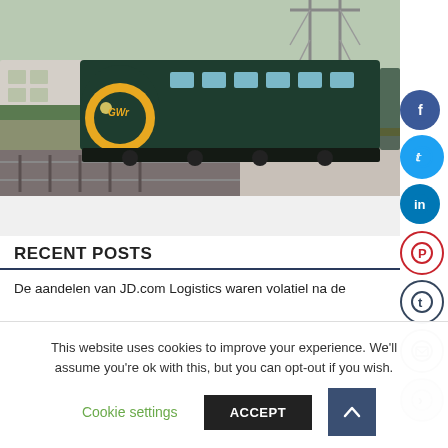[Figure (photo): A GWR (Great Western Railway) high-speed train at a station platform. The train is dark green with a yellow nose. The text 'GWR' is visible on the train. A railway platform, tracks, overhead gantry, and buildings are visible in the background.]
RECENT POSTS
De aandelen van JD.com Logistics waren volatiel na de
This website uses cookies to improve your experience. We'll assume you're ok with this, but you can opt-out if you wish.
Cookie settings   ACCEPT